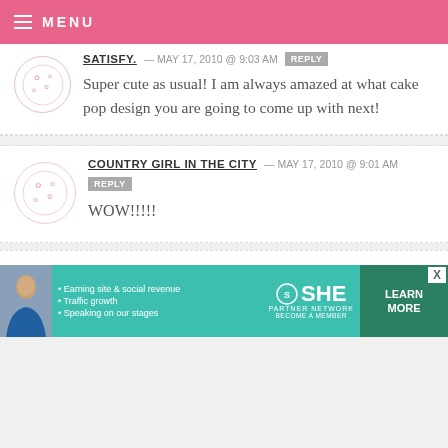MENU
SATISFY. — MAY 17, 2010 @ 9:03 AM REPLY
Super cute as usual! I am always amazed at what cake pop design you are going to come up with next!
COUNTRY GIRL IN THE CITY — MAY 17, 2010 @ 9:01 AM REPLY
WOW!!!!!
[Figure (photo): Advertisement banner for SHE Partner Network featuring a woman, bullet points about earning site & social revenue, traffic growth, speaking on our stages, with a Learn More button]